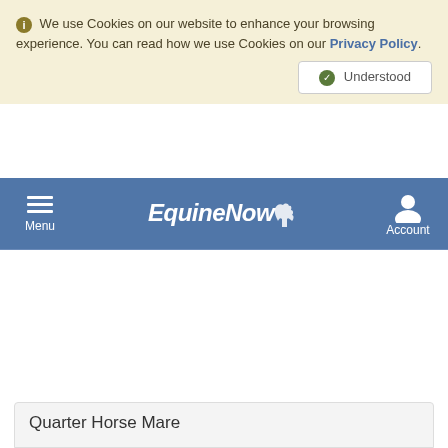We use Cookies on our website to enhance your browsing experience. You can read how we use Cookies on our Privacy Policy.
Understood
[Figure (screenshot): EquineNow website navigation bar with hamburger menu on left, EquineNow logo in center, and Account icon on right, on a blue background]
Quarter Horse Mare